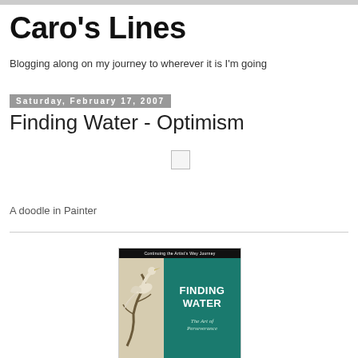Caro's Lines
Blogging along on my journey to wherever it is I'm going
Saturday, February 17, 2007
Finding Water - Optimism
[Figure (illustration): Small placeholder image box]
A doodle in Painter
[Figure (photo): Book cover of 'Finding Water: The Art of Perseverance' - Continuing the Artist's Way Journey, with a teal/green right panel showing title text and a beige left panel with a bird illustration]